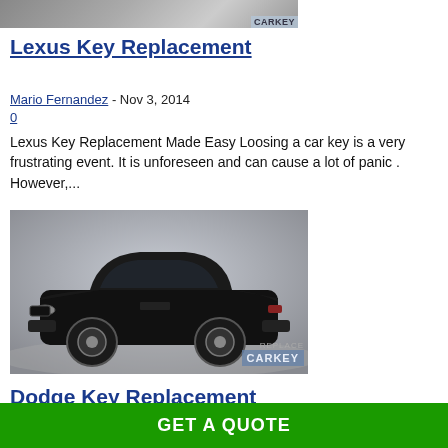[Figure (photo): Partial car image at top of page with CARKEY watermark]
Lexus Key Replacement
Mario Fernandez - Nov 3, 2014
0
Lexus Key Replacement Made Easy Loosing a car key is a very frustrating event. It is unforeseen and can cause a lot of panic . However,...
[Figure (photo): Black Dodge Charger car photo with REPLACE CARKEY watermark]
Dodge Key Replacement
GET A QUOTE